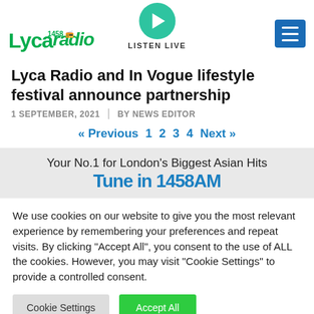Lycaradio 1458 — Listen Live
Lyca Radio and In Vogue lifestyle festival announce partnership
1 SEPTEMBER, 2021 | BY NEWS EDITOR
« Previous 1 2 3 4 Next »
Your No.1 for London's Biggest Asian Hits Tune in 1458AM
We use cookies on our website to give you the most relevant experience by remembering your preferences and repeat visits. By clicking "Accept All", you consent to the use of ALL the cookies. However, you may visit "Cookie Settings" to provide a controlled consent.
Cookie Settings | Accept All